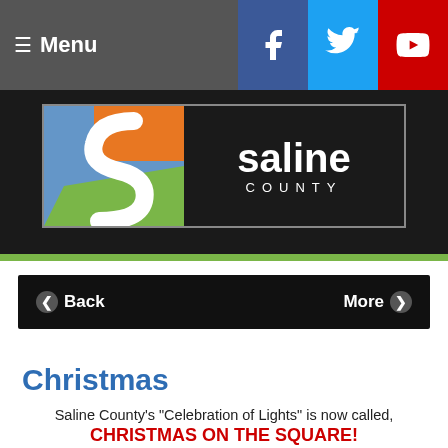≡ Menu
[Figure (logo): Saline County logo with stylized S shape in orange, green, blue, white on left, and 'saline COUNTY' text in white on dark background on right]
[Figure (other): Navigation bar with Back and More buttons on black background]
Christmas
Saline County's "Celebration of Lights" is now called, CHRISTMAS ON THE SQUARE!